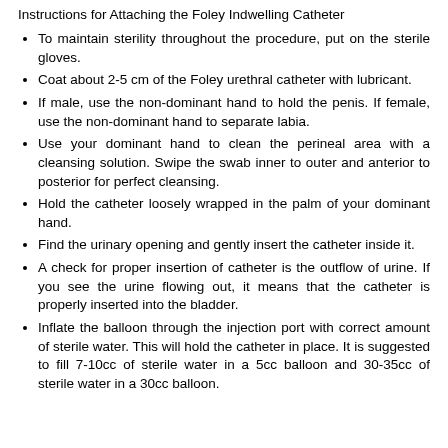Instructions for Attaching the Foley Indwelling Catheter
To maintain sterility throughout the procedure, put on the sterile gloves.
Coat about 2-5 cm of the Foley urethral catheter with lubricant.
If male, use the non-dominant hand to hold the penis. If female, use the non-dominant hand to separate labia.
Use your dominant hand to clean the perineal area with a cleansing solution. Swipe the swab inner to outer and anterior to posterior for perfect cleansing.
Hold the catheter loosely wrapped in the palm of your dominant hand.
Find the urinary opening and gently insert the catheter inside it.
A check for proper insertion of catheter is the outflow of urine. If you see the urine flowing out, it means that the catheter is properly inserted into the bladder.
Inflate the balloon through the injection port with correct amount of sterile water. This will hold the catheter in place. It is suggested to fill 7-10cc of sterile water in a 5cc balloon and 30-35cc of sterile water in a 30cc balloon.